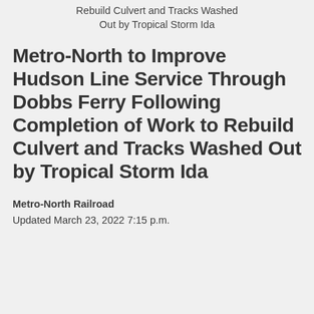Rebuild Culvert and Tracks Washed Out by Tropical Storm Ida
Metro-North to Improve Hudson Line Service Through Dobbs Ferry Following Completion of Work to Rebuild Culvert and Tracks Washed Out by Tropical Storm Ida
Metro-North Railroad
Updated March 23, 2022 7:15 p.m.